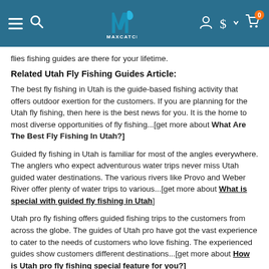MAXCATCH navigation header
flies fishing guides are there for your lifetime.
Related Utah Fly Fishing Guides Article:
The best fly fishing in Utah is the guide-based fishing activity that offers outdoor exertion for the customers. If you are planning for the Utah fly fishing, then here is the best news for you. It is the home to most diverse opportunities of fly fishing...[get more about What Are The Best Fly Fishing In Utah?]
Guided fly fishing in Utah is familiar for most of the angles everywhere. The anglers who expect adventurous water trips never miss Utah guided water destinations. The various rivers like Provo and Weber River offer plenty of water trips to various...[get more about What is special with guided fly fishing in Utah]
Utah pro fly fishing offers guided fishing trips to the customers from across the globe. The guides of Utah pro have got the vast experience to cater to the needs of customers who love fishing. The experienced guides show customers different destinations...[get more about How is Utah pro fly fishing special feature for you?]